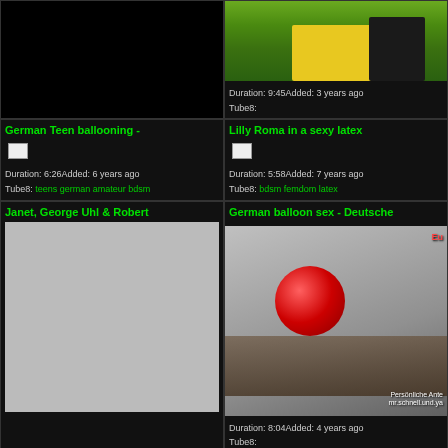[Figure (screenshot): Black thumbnail placeholder (no image loaded)]
[Figure (screenshot): Outdoor scene thumbnail showing a person in yellow clothing]
Duration: 9:45Added: 3 years ago
Tube8:
German Teen ballooning -
[Figure (screenshot): Broken/missing image icon]
Duration: 6:26Added: 6 years ago
Tube8: teens german amateur bdsm
Lilly Roma in a sexy latex
[Figure (screenshot): Broken/missing image icon]
Duration: 5:58Added: 7 years ago
Tube8: bdsm femdom latex
Janet, George Uhl & Robert
German balloon sex - Deutsche
[Figure (screenshot): Gray placeholder thumbnail for Janet, George Uhl & Robert video]
[Figure (photo): Thumbnail showing person with red balloon on a couch with watermark text]
Duration: 8:04Added: 4 years ago
Tube8: